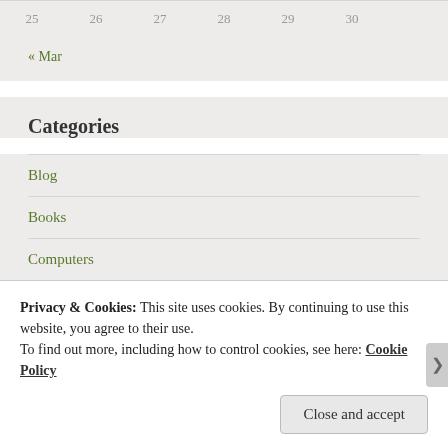| 25 | 26 | 27 | 28 | 29 | 30 |  |
« Mar
Categories
Blog
Books
Computers
Virus
Creativity
Privacy & Cookies: This site uses cookies. By continuing to use this website, you agree to their use.
To find out more, including how to control cookies, see here: Cookie Policy
Close and accept